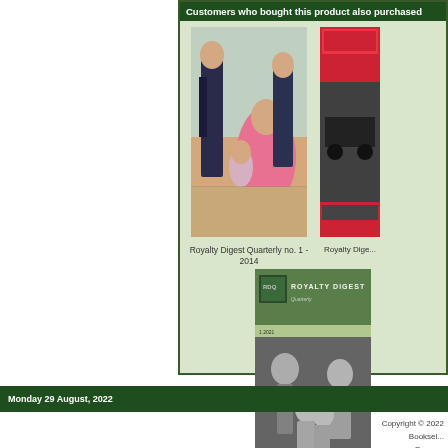Customers who bought this product also purchased
[Figure (illustration): Book cover image: Royalty Digest Quarterly no. 1 - 2014, showing a Victorian era royal family portrait painting]
Royalty Digest Quarterly no. 1 - 2014
[Figure (illustration): Partially visible second book cover on the right side]
Royalty Dige...
[Figure (illustration): Book cover image: Royalty Digest Quarterly no. 1 - 2021, showing a black and white family photo with Royalty Digest Quarterly branding]
Royalty Digest Quarterly no. 1 - 2021
Monday 29 August, 2022
Copyright © 2022
Booksel...
Power...